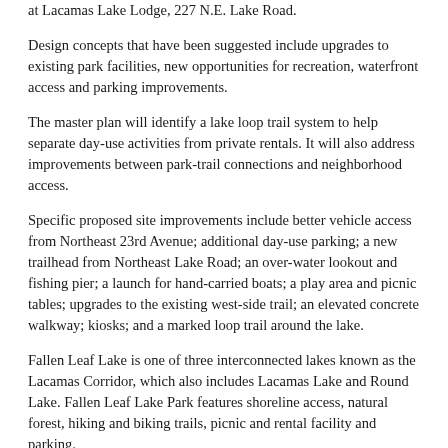at Lacamas Lake Lodge, 227 N.E. Lake Road.
Design concepts that have been suggested include upgrades to existing park facilities, new opportunities for recreation, waterfront access and parking improvements.
The master plan will identify a lake loop trail system to help separate day-use activities from private rentals. It will also address improvements between park-trail connections and neighborhood access.
Specific proposed site improvements include better vehicle access from Northeast 23rd Avenue; additional day-use parking; a new trailhead from Northeast Lake Road; an over-water lookout and fishing pier; a launch for hand-carried boats; a play area and picnic tables; upgrades to the existing west-side trail; an elevated concrete walkway; kiosks; and a marked loop trail around the lake.
Fallen Leaf Lake is one of three interconnected lakes known as the Lacamas Corridor, which also includes Lacamas Lake and Round Lake. Fallen Leaf Lake Park features shoreline access, natural forest, hiking and biking trails, picnic and rental facility and parking.
The city purchased the site in May 2011 for $2.05 million from Koch RP Holdings I, LLC, which has owned the Georgia-Pacific Camas paper mill since 2005.